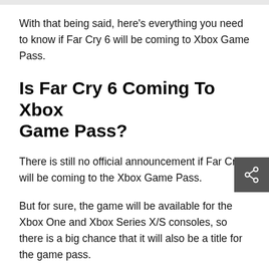With that being said, here’s everything you need to know if Far Cry 6 will be coming to Xbox Game Pass.
Is Far Cry 6 Coming To Xbox Game Pass?
There is still no official announcement if Far Cry 6 will be coming to the Xbox Game Pass.
But for sure, the game will be available for the Xbox One and Xbox Series X/S consoles, so there is a big chance that it will also be a title for the game pass.